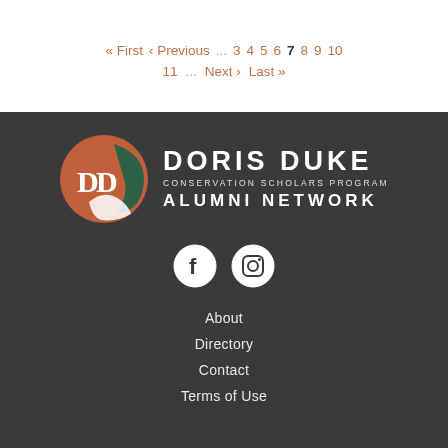« First  ‹ Previous  ...  3  4  5  6  7  8  9  10  11  ...  Next ›  Last »
[Figure (logo): Doris Duke Conservation Scholars Program Alumni Network logo with circular emblem featuring DD initials in orange/green, and text DORIS DUKE CONSERVATION SCHOLARS PROGRAM ALUMNI NETWORK]
[Figure (infographic): Facebook and Instagram social media icon buttons in white circles on dark background]
About
Directory
Contact
Terms of Use